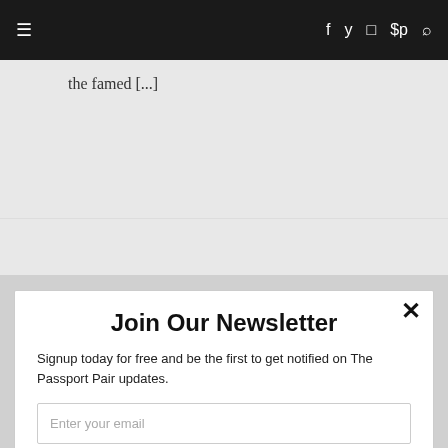≡  f  y  [instagram]  [pinterest]  [search]
the famed [...]
Join Our Newsletter
Signup today for free and be the first to get notified on The Passport Pair updates.
Enter your email
Subscribe
powered by MailMunch